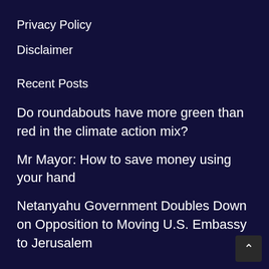Privacy Policy
Disclaimer
Recent Posts
Do roundabouts have more green than red in the climate action mix?
Mr Mayor: How to save money using your hand
Netanyahu Government Doubles Down on Opposition to Moving U.S. Embassy to Jerusalem